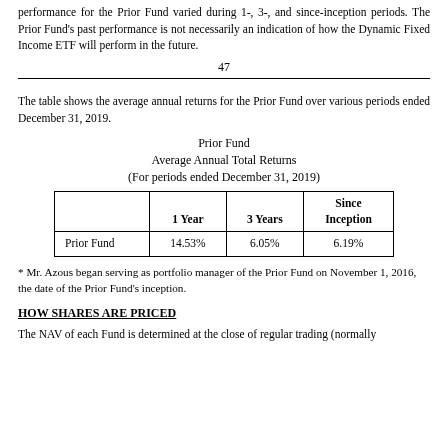performance for the Prior Fund varied during 1-, 3-, and since-inception periods. The Prior Fund's past performance is not necessarily an indication of how the Dynamic Fixed Income ETF will perform in the future.
47
The table shows the average annual returns for the Prior Fund over various periods ended December 31, 2019.
Prior Fund
Average Annual Total Returns
(For periods ended December 31, 2019)
|  | 1 Year | 3 Years | Since
Inception |
| --- | --- | --- | --- |
| Prior Fund | 14.53% | 6.05% | 6.19% |
* Mr. Azous began serving as portfolio manager of the Prior Fund on November 1, 2016, the date of the Prior Fund's inception.
HOW SHARES ARE PRICED
The NAV of each Fund is determined at the close of regular trading (normally